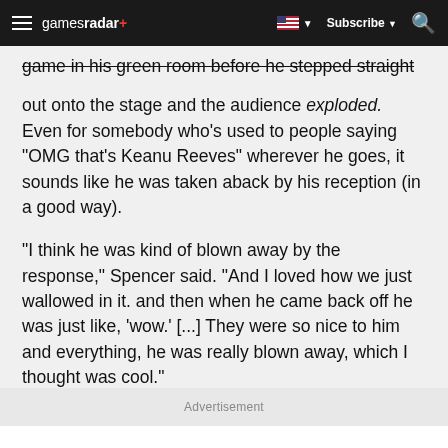gamesradar+ | Subscribe | Search
game in his green room before he stepped straight out onto the stage and the audience exploded. Even for somebody who's used to people saying "OMG that's Keanu Reeves" wherever he goes, it sounds like he was taken aback by his reception (in a good way).
"I think he was kind of blown away by the response," Spencer said. "And I loved how we just wallowed in it. and then when he came back off he was just like, 'wow.' [...] They were so nice to him and everything, he was really blown away, which I thought was cool."
Advertisement